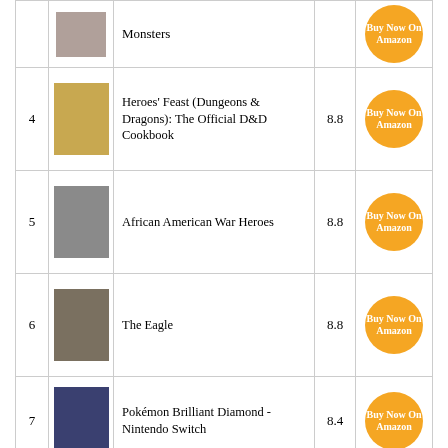| # | Image | Name | Score | Link |
| --- | --- | --- | --- | --- |
|  |  | Monsters |  | Buy Now On Amazon |
| 4 |  | Heroes' Feast (Dungeons & Dragons): The Official D&D Cookbook | 8.8 | Buy Now On Amazon |
| 5 |  | African American War Heroes | 8.8 | Buy Now On Amazon |
| 6 |  | The Eagle | 8.8 | Buy Now On Amazon |
| 7 |  | Pokémon Brilliant Diamond - Nintendo Switch | 8.4 | Buy Now On Amazon |
See Also:
Best Pdb For Quadcopter
Best Macross Model Kits
Best Boat For Gunkholing